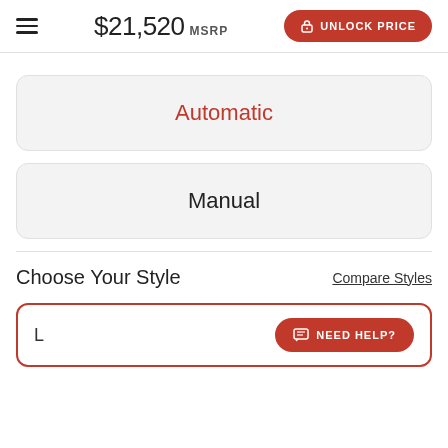$21,520 MSRP  UNLOCK PRICE
Automatic
Manual
Choose Your Style
Compare Styles
L
NEED HELP?